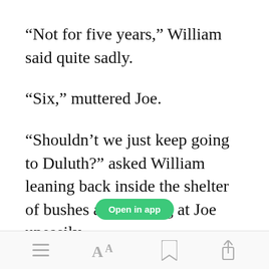“Not for five years,” William said quite sadly.
“Six,” muttered Joe.
“Shouldn’t we just keep going to Duluth?” asked William leaning back inside the shelter of bushes and looking at Joe uneasily.
[Figure (screenshot): App bottom toolbar with menu, font size, bookmark, and share icons, and a green 'Open in app' button overlay]